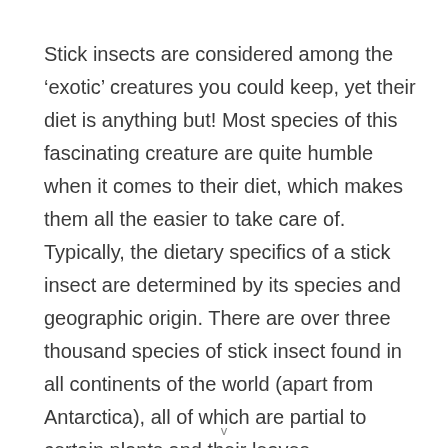Stick insects are considered among the ‘exotic’ creatures you could keep, yet their diet is anything but! Most species of this fascinating creature are quite humble when it comes to their diet, which makes them all the easier to take care of. Typically, the dietary specifics of a stick insect are determined by its species and geographic origin. There are over three thousand species of stick insect found in all continents of the world (apart from Antarctica), all of which are partial to certain plants and their leaves.
v